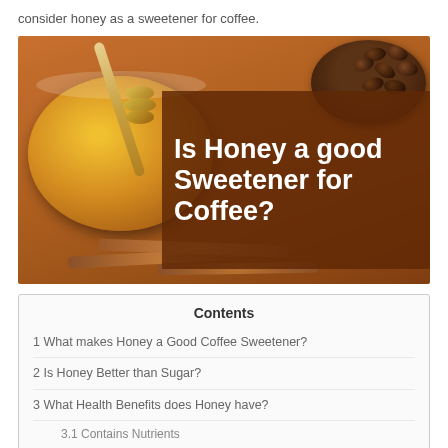consider honey as a sweetener for coffee.
[Figure (photo): Photo of a glass bowl of honey with a wooden honey dipper, coffee beans on a plate in the background, and cinnamon sticks, with a brown overlay box containing the text 'Is Honey a good Sweetener for Coffee?']
Contents
1 What makes Honey a Good Coffee Sweetener?
2 Is Honey Better than Sugar?
3 What Health Benefits does Honey have?
3.1 Contains Nutrients